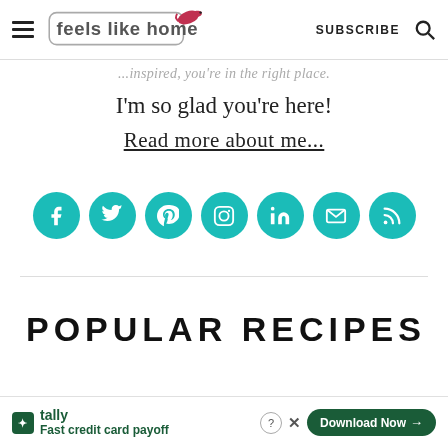feels like home — SUBSCRIBE
...inspired, you're in the right place.
I'm so glad you're here!
Read more about me...
[Figure (infographic): Row of 7 teal circular social media icons: Facebook, Twitter, Pinterest, Instagram, LinkedIn, Email/Envelope, RSS]
POPULAR RECIPES
Che...
Tally — Fast credit card payoff — Download Now